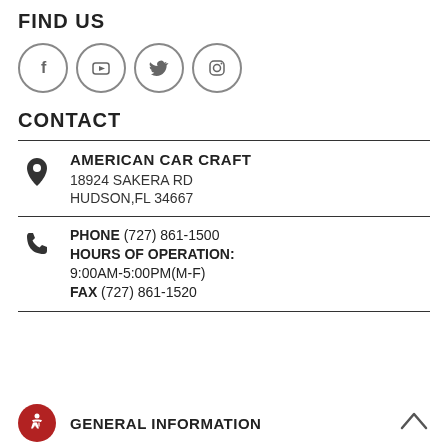FIND US
[Figure (illustration): Four social media icon circles: Facebook (f), YouTube (play button), Twitter (bird), Instagram (camera)]
CONTACT
AMERICAN CAR CRAFT
18924 SAKERA RD
HUDSON, FL 34667
PHONE (727) 861-1500
HOURS OF OPERATION:
9:00AM-5:00PM(M-F)
FAX (727) 861-1520
GENERAL INFORMATION